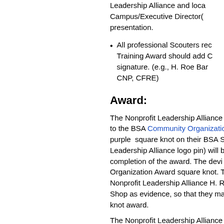Leadership Alliance and local Campus/Executive Director(s) presentation.
All professional Scouters receiving the Training Award should add CNP to their signature. (e.g., H. Roe Bartle, CNP, CFRE)
Award:
The Nonprofit Leadership Alliance will present to the BSA Community Organization Award a purple square knot on their BSA Scouter uniform (Nonprofit Leadership Alliance logo pin) will be presented upon completion of the award. The device for the Community Organization Award square knot. The BSA Shop as evidence, so that they may purchase the knot award.
The Nonprofit Leadership Alliance award will be given simultaneously with the CNP certification from either the student's college or university; or at the annual Management/Leadership Institute
To apply for the award, please download and submit as a scanned .pdf document to Dr.